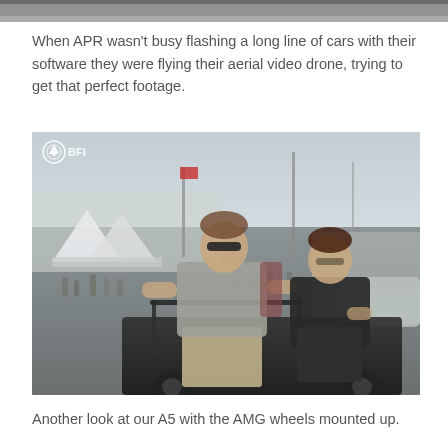[Figure (photo): Partial top edge of a previous photo, gray/dark strip at top of page]
When APR wasn't busy flashing a long line of cars with their software they were flying their aerial video drone, trying to get that perfect footage.
[Figure (photo): Outdoor car event/show scene. Two men seated on a utility vehicle or cart in the foreground. One wears sunglasses and a gray polo shirt, the other wears a black shirt. Background shows white event tents, flags, parked cars, and crowds of people under a bright overcast sky. BFI logo watermark in top-left corner of photo.]
Another look at our A5 with the AMG wheels mounted up.